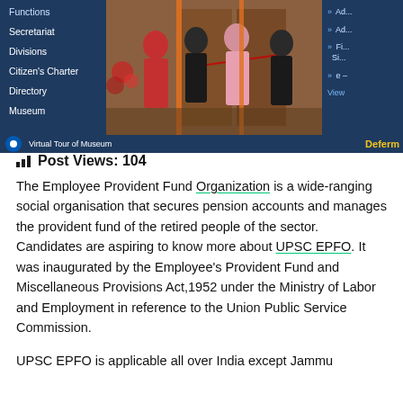[Figure (screenshot): Government website screenshot showing navigation panel with menu items (Functions, Secretariat, Divisions, Citizen's Charter, Directory, Museum, Virtual Tour of Museum), a central photo of people at an official ceremony/inauguration, and a right panel with partially visible links. A bottom bar shows 'Virtual Tour of Museum' and 'Deferm...' text in yellow.]
Post Views: 104
The Employee Provident Fund Organization is a wide-ranging social organisation that secures pension accounts and manages the provident fund of the retired people of the sector. Candidates are aspiring to know more about UPSC EPFO. It was inaugurated by the Employee's Provident Fund and Miscellaneous Provisions Act,1952 under the Ministry of Labor and Employment in reference to the Union Public Service Commission.
UPSC EPFO is applicable all over India except Jammu